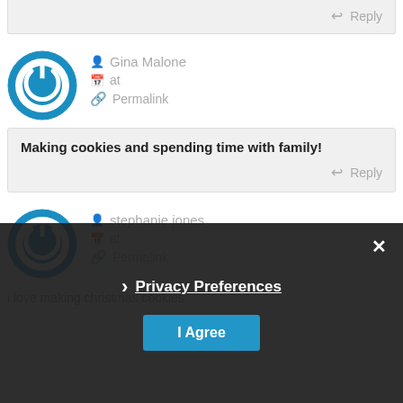Reply
Gina Malone
at
Permalink
Making cookies and spending time with family!
Reply
stephanie jones
at
Permalink
i love making christmas cookies
Reply
Privacy Preferences
I Agree